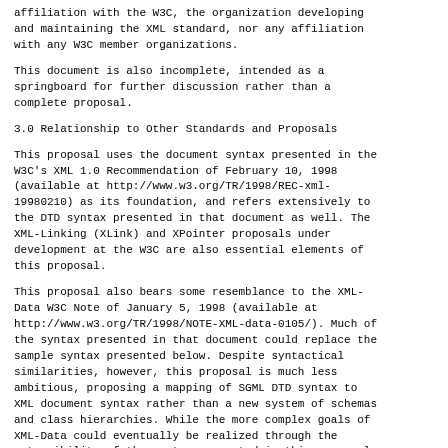affiliation with the W3C, the organization developing and maintaining the XML standard, nor any affiliation with any W3C member organizations.
This document is also incomplete, intended as a springboard for further discussion rather than a complete proposal.
3.0 Relationship to Other Standards and Proposals
This proposal uses the document syntax presented in the W3C's XML 1.0 Recommendation of February 10, 1998 (available at http://www.w3.org/TR/1998/REC-xml-19980210) as its foundation, and refers extensively to the DTD syntax presented in that document as well. The XML-Linking (XLink) and XPointer proposals under development at the W3C are also essential elements of this proposal.
This proposal also bears some resemblance to the XML-Data W3C Note of January 5, 1998 (available at http://www.w3.org/TR/1998/NOTE-XML-data-0105/). Much of the syntax presented in that document could replace the sample syntax presented below. Despite syntactical similarities, however, this proposal is much less ambitious, proposing a mapping of SGML DTD syntax to XML document syntax rather than a new system of schemas and class hierarchies. While the more complex goals of XML-Data could eventually be realized through the extensibility of the system presented in this proposal, this proposal starts with much smaller steps that are